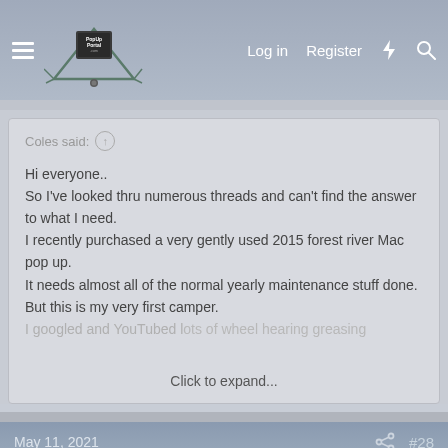PopUpPortal.com — Log in | Register
Coles said:
Hi everyone..
So I've looked thru numerous threads and can't find the answer to what I need.
I recently purchased a very gently used 2015 forest river Mac pop up.
It needs almost all of the normal yearly maintenance stuff done. But this is my very first camper.
I googled and YouTubed lots of wheel hearing greasing
Click to expand...
May 11, 2021  #28
SouthJerseyCamper
Member